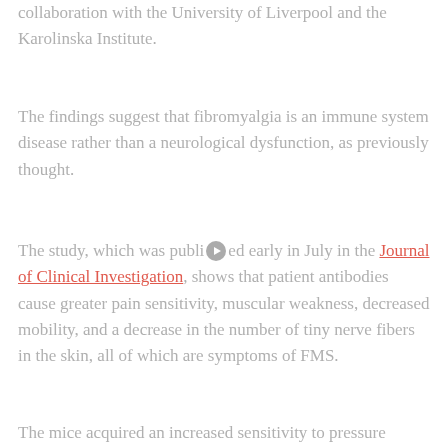collaboration with the University of Liverpool and the Karolinska Institute.
The findings suggest that fibromyalgia is an immune system disease rather than a neurological dysfunction, as previously thought.
The study, which was published early in July in the Journal of Clinical Investigation, shows that patient antibodies cause greater pain sensitivity, muscular weakness, decreased mobility, and a decrease in the number of tiny nerve fibers in the skin, all of which are symptoms of FMS.
The mice acquired an increased sensitivity to pressure